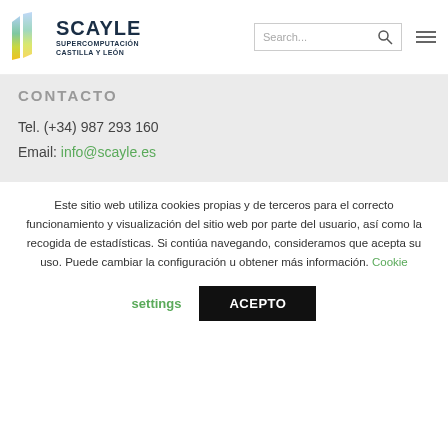[Figure (logo): SCAYLE Supercomputación Castilla y León logo with colorful parallelogram icon]
CONTACTO
Tel. (+34) 987 293 160
Email: info@scayle.es
Este sitio web utiliza cookies propias y de terceros para el correcto funcionamiento y visualización del sitio web por parte del usuario, así como la recogida de estadísticas. Si contiúa navegando, consideramos que acepta su uso. Puede cambiar la configuración u obtener más información. Cookie settings
ACEPTO